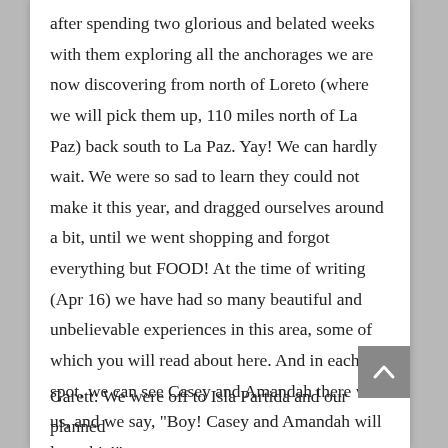after spending two glorious and belated weeks with them exploring all the anchorages we are now discovering from north of Loreto (where we will pick them up, 110 miles north of La Paz) back south to La Paz. Yay! We can hardly wait. We were so sad to learn they could not make it this year, and dragged ourselves around a bit, until we went shopping and forgot everything but FOOD! At the time of writing (Apr 16) we have had so many beautiful and unbelievable experiences in this area, some of which you will read about here. And in each spot, we can see Casey and Amandah there with us, and we say, "Boy! Casey and Amandah will love this!"
Garett: We were off to Isla Partida and our planned